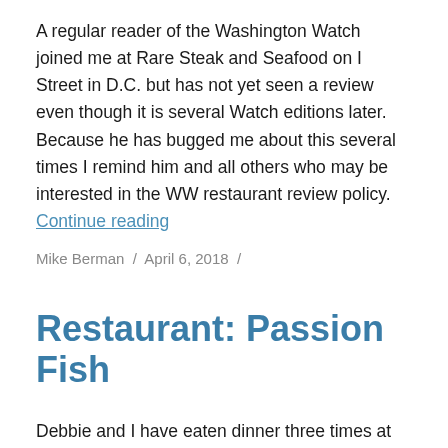A regular reader of the Washington Watch joined me at Rare Steak and Seafood on I Street in D.C. but has not yet seen a review even though it is several Watch editions later. Because he has bugged me about this several times I remind him and all others who may be interested in the WW restaurant review policy. Continue reading
Mike Berman / April 6, 2018 /
Restaurant: Passion Fish
Debbie and I have eaten dinner three times at